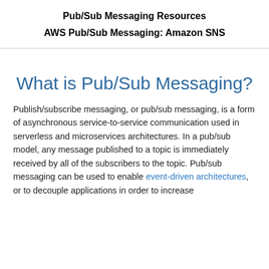Pub/Sub Messaging Resources
AWS Pub/Sub Messaging: Amazon SNS
What is Pub/Sub Messaging?
Publish/subscribe messaging, or pub/sub messaging, is a form of asynchronous service-to-service communication used in serverless and microservices architectures. In a pub/sub model, any message published to a topic is immediately received by all of the subscribers to the topic. Pub/sub messaging can be used to enable event-driven architectures, or to decouple applications in order to increase